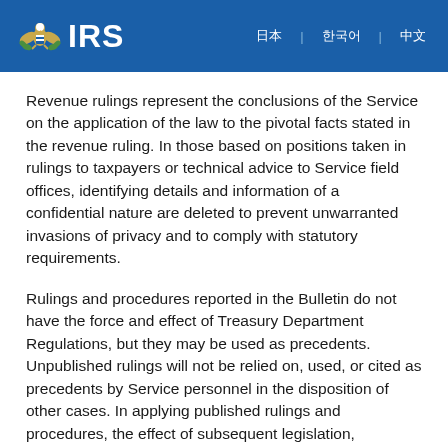IRS
Revenue rulings represent the conclusions of the Service on the application of the law to the pivotal facts stated in the revenue ruling. In those based on positions taken in rulings to taxpayers or technical advice to Service field offices, identifying details and information of a confidential nature are deleted to prevent unwarranted invasions of privacy and to comply with statutory requirements.
Rulings and procedures reported in the Bulletin do not have the force and effect of Treasury Department Regulations, but they may be used as precedents. Unpublished rulings will not be relied on, used, or cited as precedents by Service personnel in the disposition of other cases. In applying published rulings and procedures, the effect of subsequent legislation, regulations, court decisions, rulings, and procedures must be considered, and Service personnel and others concerned are cautioned against reaching the same conclusions in the same or other facts and...